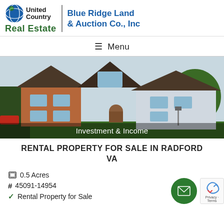[Figure (logo): United Country Real Estate - Blue Ridge Land & Auction Co., Inc logo with globe icon]
≡ Menu
[Figure (photo): Brick two-story house with trees, labeled 'Investment & Income']
RENTAL PROPERTY FOR SALE IN RADFORD VA
0.5 Acres
# 45091-14954
✔ Rental Property for Sale